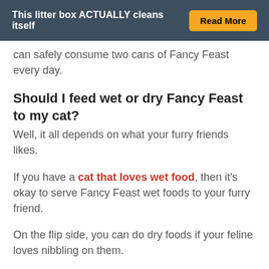This litter box ACTUALLY cleans itself   Read More
can safely consume two cans of Fancy Feast every day.
Should I feed wet or dry Fancy Feast to my cat?
Well, it all depends on what your furry friends likes.
If you have a cat that loves wet food, then it's okay to serve Fancy Feast wet foods to your furry friend.
On the flip side, you can do dry foods if your feline loves nibbling on them.